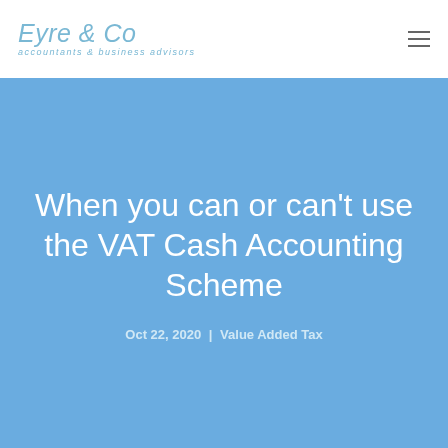[Figure (logo): Eyre & Co accountants & business advisors logo in light blue text]
When you can or can't use the VAT Cash Accounting Scheme
Oct 22, 2020 | Value Added Tax